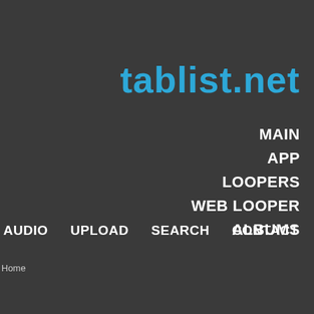tablist.net
MAIN
APP
LOOPERS
WEB LOOPER
ALBUMS
AUDIO
UPLOAD
SEARCH
CONTACT
Home